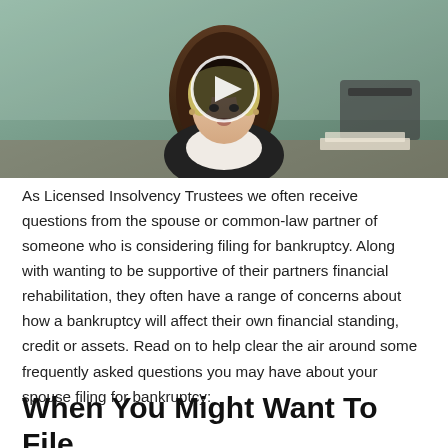[Figure (screenshot): Video thumbnail showing a woman sitting at a desk in an office chair, with a play button overlay in the center of the image.]
As Licensed Insolvency Trustees we often receive questions from the spouse or common-law partner of someone who is considering filing for bankruptcy. Along with wanting to be supportive of their partners financial rehabilitation, they often have a range of concerns about how a bankruptcy will affect their own financial standing, credit or assets. Read on to help clear the air around some frequently asked questions you may have about your spouse filing for bankruptcy:
When You Might Want To File